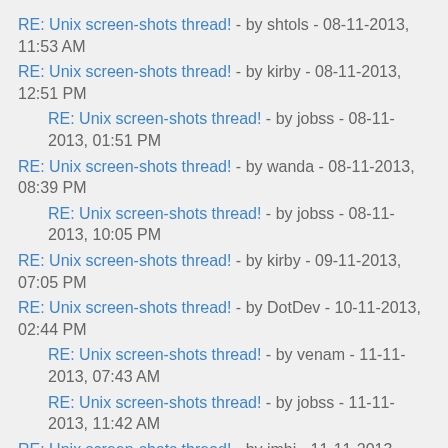RE: Unix screen-shots thread! - by shtols - 08-11-2013, 11:53 AM
RE: Unix screen-shots thread! - by kirby - 08-11-2013, 12:51 PM
RE: Unix screen-shots thread! - by jobss - 08-11-2013, 01:51 PM
RE: Unix screen-shots thread! - by wanda - 08-11-2013, 08:39 PM
RE: Unix screen-shots thread! - by jobss - 08-11-2013, 10:05 PM
RE: Unix screen-shots thread! - by kirby - 09-11-2013, 07:05 PM
RE: Unix screen-shots thread! - by DotDev - 10-11-2013, 02:44 PM
RE: Unix screen-shots thread! - by venam - 11-11-2013, 07:43 AM
RE: Unix screen-shots thread! - by jobss - 11-11-2013, 11:42 AM
RE: Unix screen-shots thread! - by jmbi - 11-11-2013, 02:17 AM
RE: Unix screen-shots thread! - by earsplit - 12-11-2013, 03:03